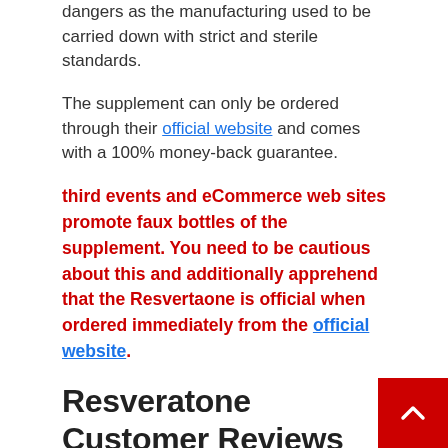dangers as the manufacturing used to be carried down with strict and sterile standards.
The supplement can only be ordered through their official website and comes with a 100% money-back guarantee.
third events and eCommerce web sites promote faux bottles of the supplement. You need to be cautious about this and additionally apprehend that the Resvertaone is official when ordered immediately from the official website.
Resveratone Customer Reviews And Complaints
What I ought to discover out via my lookup used to pretty astounding. The majority of the customers ha been blissful the usage of the complement and did no